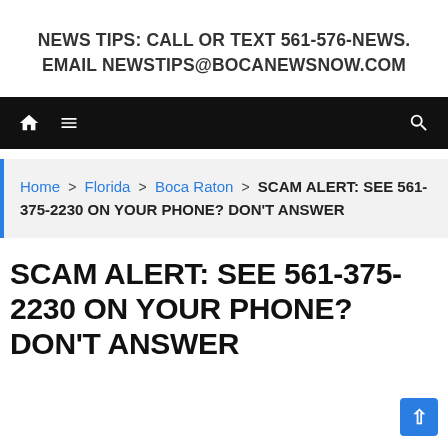NEWS TIPS: CALL OR TEXT 561-576-NEWS. EMAIL NEWSTIPS@BOCANEWSNOW.COM
[Figure (screenshot): Black navigation bar with home icon, hamburger menu icon on the left, and search icon on the right]
Home > Florida > Boca Raton > SCAM ALERT: SEE 561-375-2230 ON YOUR PHONE? DON'T ANSWER
SCAM ALERT: SEE 561-375-2230 ON YOUR PHONE? DON'T ANSWER